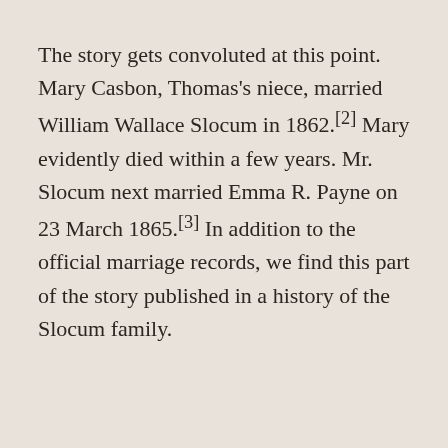The story gets convoluted at this point. Mary Casbon, Thomas's niece, married William Wallace Slocum in 1862.[2] Mary evidently died within a few years. Mr. Slocum next married Emma R. Payne on 23 March 1865.[3] In addition to the official marriage records, we find this part of the story published in a history of the Slocum family.